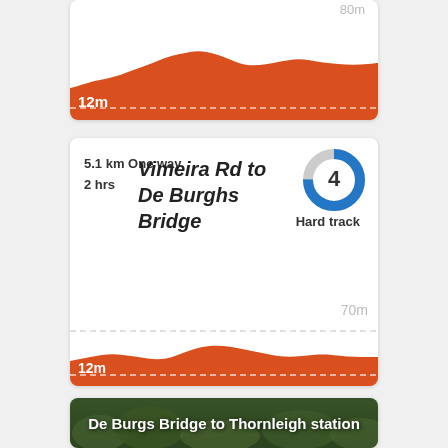[Figure (continuous-plot): Elevation profile chart (top, cropped) showing terrain profile with min 12m label and max ~80m label, orange/red filled area on white background with dashed reference line]
5.1 km One way
2 hrs
Vimeira Rd to De Burghs Bridge
Hard track
[Figure (donut-chart): Difficulty badge showing number 4 with blue and grey donut/circle indicator]
[Figure (continuous-plot): Elevation profile chart for Vimeira Rd to De Burghs Bridge route, showing terrain with 12m min and 70m max labels, orange filled area]
[Figure (photo): Lush green forest/bush photo with text overlay: De Burgs Bridge to Thornleigh station]